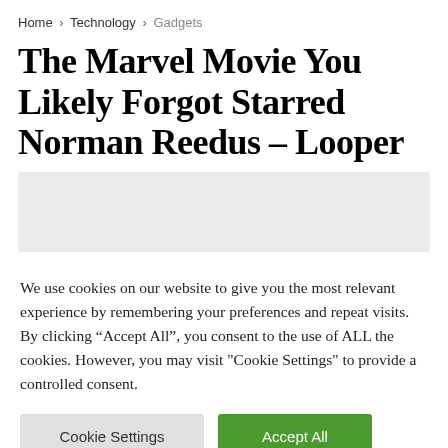Home > Technology > Gadgets
The Marvel Movie You Likely Forgot Starred Norman Reedus – Looper
[Figure (other): Light gray image placeholder rectangle]
We use cookies on our website to give you the most relevant experience by remembering your preferences and repeat visits. By clicking “Accept All”, you consent to the use of ALL the cookies. However, you may visit "Cookie Settings" to provide a controlled consent.
Cookie Settings | Accept All